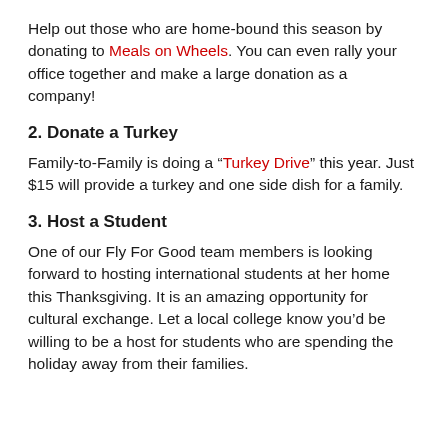Help out those who are home-bound this season by donating to Meals on Wheels. You can even rally your office together and make a large donation as a company!
2. Donate a Turkey
Family-to-Family is doing a “Turkey Drive” this year. Just $15 will provide a turkey and one side dish for a family.
3. Host a Student
One of our Fly For Good team members is looking forward to hosting international students at her home this Thanksgiving. It is an amazing opportunity for cultural exchange. Let a local college know you’d be willing to be a host for students who are spending the holiday away from their families.